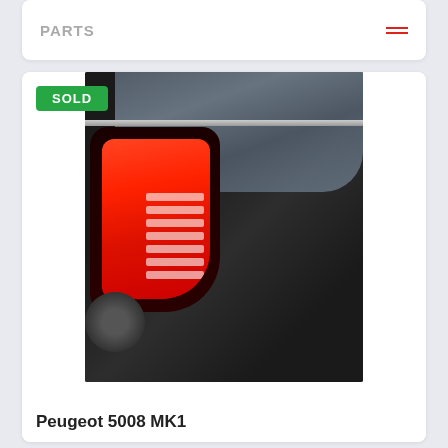PARTS
[Figure (photo): Photo of a Peugeot 5008 MK1 tail light on a dark-colored vehicle, with a green SOLD badge overlaid in the top-left corner of the image.]
Peugeot 5008 MK1